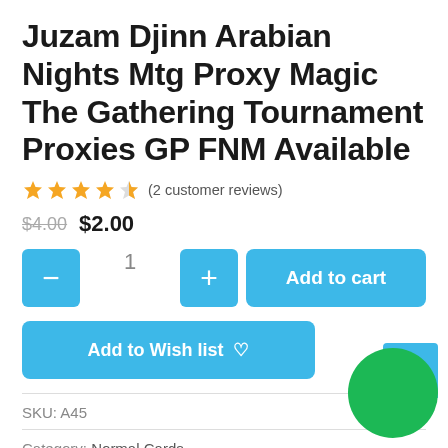Juzam Djinn Arabian Nights Mtg Proxy Magic The Gathering Tournament Proxies GP FNM Available
★★★★½ (2 customer reviews)
$4.00  $2.00
- 1 + Add to cart
Add to Wish list ♥
SKU: A45
Category: Normal Cards
Tags: magic the gathering proxy, mtg proxy, tournament